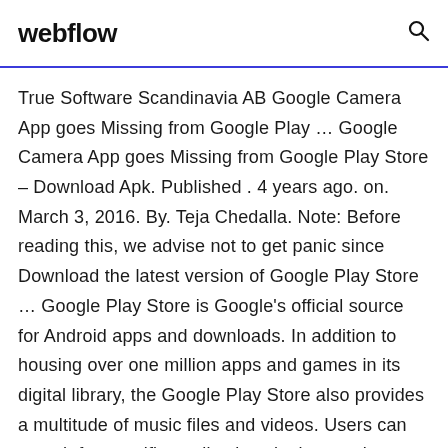webflow
True Software Scandinavia AB Google Camera App goes Missing from Google Play ... Google Camera App goes Missing from Google Play Store – Download Apk. Published . 4 years ago. on. March 3, 2016. By. Teja Chedalla. Note: Before reading this, we advise not to get panic since Download the latest version of Google Play Store ... Google Play Store is Google's official source for Android apps and downloads. In addition to housing over one million apps and games in its digital library, the Google Play Store also provides a multitude of music files and videos. Users can search for specific applications by keyword or browse apps in the